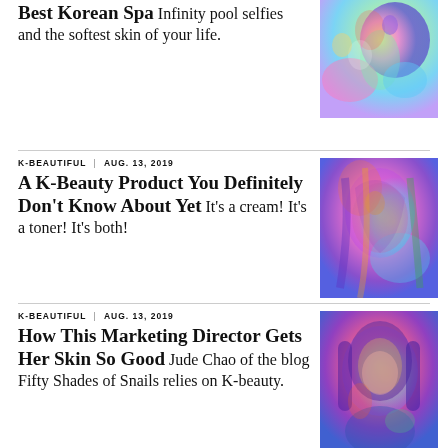A Complete Guide to New York's Best Korean Spa Infinity pool selfies and the softest skin of your life.
[Figure (illustration): Colorful psychedelic illustration with abstract shapes in green, pink, purple tones]
K-BEAUTIFUL | AUG. 13, 2019
A K-Beauty Product You Definitely Don't Know About Yet It's a cream! It's a toner! It's both!
[Figure (illustration): Colorful psychedelic portrait of a person with rainbow hues]
K-BEAUTIFUL | AUG. 13, 2019
How This Marketing Director Gets Her Skin So Good Jude Chao of the blog Fifty Shades of Snails relies on K-beauty.
[Figure (illustration): Colorful psychedelic portrait of a woman with bob haircut in rainbow tones]